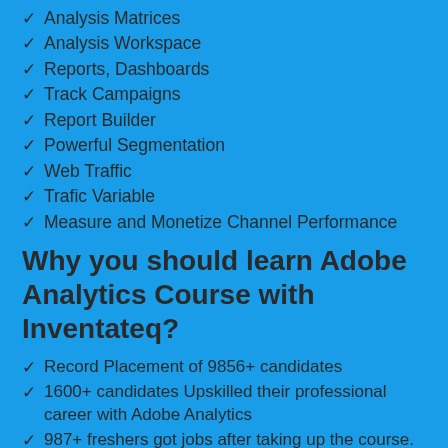Analysis Matrices
Analysis Workspace
Reports, Dashboards
Track Campaigns
Report Builder
Powerful Segmentation
Web Traffic
Trafic Variable
Measure and Monetize Channel Performance
Why you should learn Adobe Analytics Course with Inventateq?
Record Placement of 9856+ candidates
1600+ candidates Upskilled their professional career with Adobe Analytics
987+ freshers got jobs after taking up the course.
Company tie-ups for job placements.
Dedicated placement team